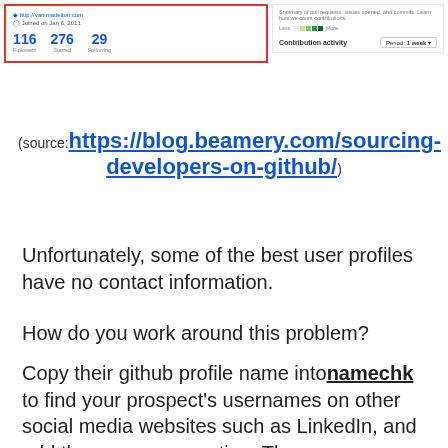[Figure (screenshot): GitHub profile screenshot showing URL, joined date Jan 6, 2011, stats: 116 Followers, 276 Starred, 29 Following. Right panel shows contribution activity with heatmap and Period: 1 week dropdown.]
(source:https://blog.beamery.com/sourcing-developers-on-github/)
Unfortunately, some of the best user profiles have no contact information.
How do you work around this problem?
Copy their github profile name into namechk to find your prospect's usernames on other social media websites such as LinkedIn, and add them as a connection. Then, you can extract their personal email id with the